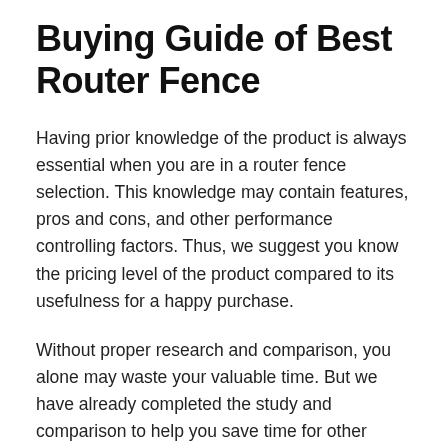Buying Guide of Best Router Fence
Having prior knowledge of the product is always essential when you are in a router fence selection. This knowledge may contain features, pros and cons, and other performance controlling factors. Thus, we suggest you know the pricing level of the product compared to its usefulness for a happy purchase.
Without proper research and comparison, you alone may waste your valuable time. But we have already completed the study and comparison to help you save time for other chores. You can buy the right router fence within the shortest possible